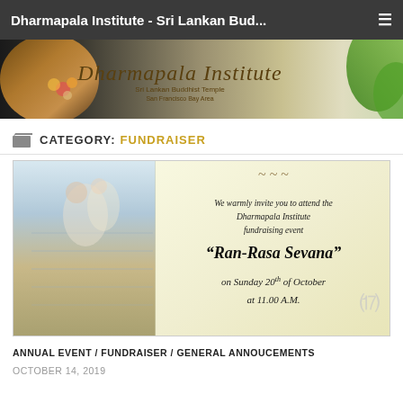Dharmapala Institute - Sri Lankan Bud...
[Figure (photo): Dharmapala Institute banner with golden Buddha statue on left, flowers, text 'Dharmapala Institute' and subtitle 'Sri Lankan Buddhist Temple San Francisco Bay Area', green leaves on right]
CATEGORY: FUNDRAISER
[Figure (photo): Event invitation flyer showing a dinner table setting photo on the left and a scroll-style invitation on the right reading: We warmly invite you to attend the Dharmapala Institute fundraising event "Ran-Rasa Sevana" on Sunday 20th of October at 11.00 A.M.]
ANNUAL EVENT / FUNDRAISER / GENERAL ANNOUCEMENTS
OCTOBER 14, 2019